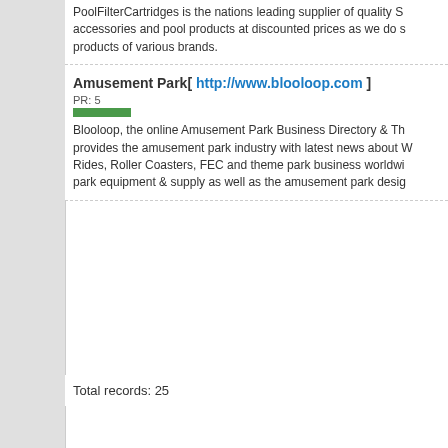PoolFilterCartridges is the nations leading supplier of quality S... accessories and pool products at discounted prices as we do s... products of various brands.
Amusement Park[ http://www.blooloop.com ]
PR: 5
Blooloop, the online Amusement Park Business Directory & Th... provides the amusement park industry with latest news about W... Rides, Roller Coasters, FEC and theme park business worldwi... park equipment & supply as well as the amusement park desig...
Total records: 25
Statistics:
Categories: 15
Subcategories: 126
Approved Links: 62676
Added For Approval Today: 130
Cool Sites:
Quality D...
Timesha...
DVD Exp...
Lucid Lynx - Linux How Tos
Home | Submit Link | Remove Link | Latest Links | Top Hits...